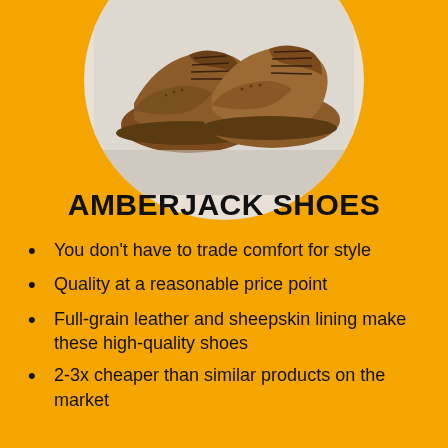[Figure (photo): Pair of tan/brown leather oxford/derby shoes with laces, shown on a white surface inside a circular crop against an orange background]
AMBERJACK SHOES
You don't have to trade comfort for style
Quality at a reasonable price point
Full-grain leather and sheepskin lining make these high-quality shoes
2-3x cheaper than similar products on the market